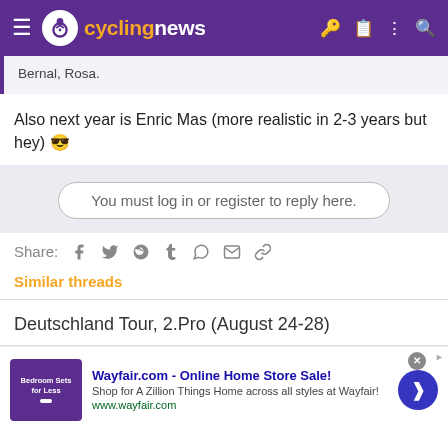cyclingnews
Bernal, Rosa.
Also next year is Enric Mas (more realistic in 2-3 years but hey) 😎
You must log in or register to reply here.
Share: [icons]
Similar threads
Deutschland Tour, 2.Pro (August 24-28)
[Figure (screenshot): Wayfair.com advertisement banner with text 'Wayfair.com - Online Home Store Sale! Shop for A Zillion Things Home across all styles at Wayfair! www.wayfair.com']